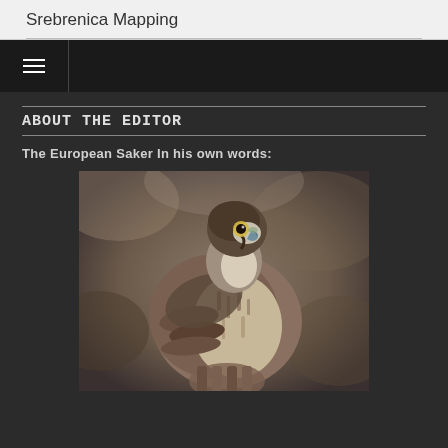Srebrenica Mapping
ABOUT THE EDITOR
The European Saker In his own words:
[Figure (photo): A European Saker falcon perched, facing slightly left, with brown and white plumage, yellow eye ring, and blue-grey beak, against a blurred brownish-grey background.]